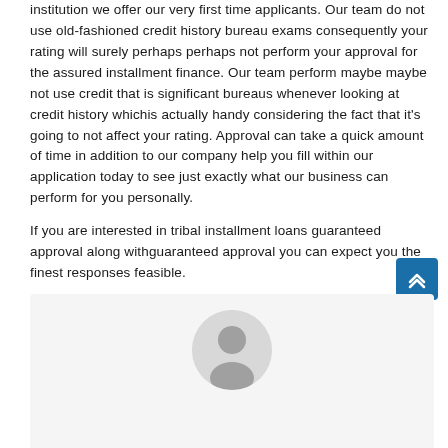institution we offer our very first time applicants. Our team do not use old-fashioned credit history bureau exams consequently your rating will surely perhaps perhaps not perform your approval for the assured installment finance. Our team perform maybe maybe not use credit that is significant bureaus whenever looking at credit history whichis actually handy considering the fact that it's going to not affect your rating. Approval can take a quick amount of time in addition to our company help you fill within our application today to see just exactly what our business can perform for you personally.
If you are interested in tribal installment loans guaranteed approval along withguaranteed approval you can expect you the finest responses feasible.
[Figure (illustration): A back-to-top button (dark blue square with upward chevron arrow) and a user avatar placeholder circle with a person silhouette icon on a light gray background]